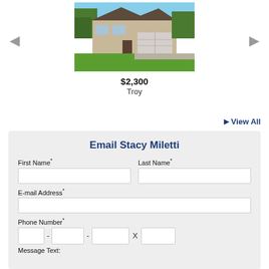[Figure (photo): Exterior photo of a ranch-style house with white garage and green lawn in Troy]
$2,300
Troy
▶ View All
Email Stacy Miletti
First Name*
Last Name*
E-mail Address*
Phone Number*
Message Text: